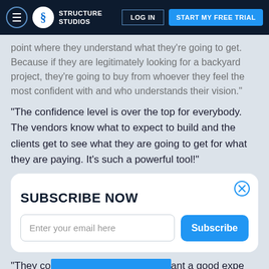Structure Studios — LOG IN | START MY FREE TRIAL
point where they understand what they're going to get. Because if they are legitimately looking for a backyard project, they're going to buy from whoever they feel the most confident with and who understands their vision."
"The confidence level is over the top for everybody. The vendors know what to expect to build and the clients get to see what they are going to get for what they are paying. It's such a powerful tool!"
SUBSCRIBE NOW
Enter your email here
Subscribe
"They co... ant a good expe... they don't want the standard 35,000 dollar pool/spa combo that
START MY FREE TRIAL